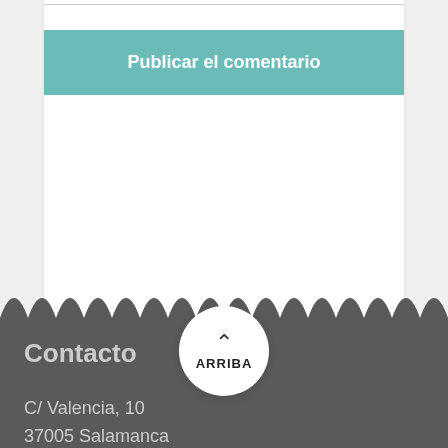Publicar el comentario
Contacto
C/ Valencia, 10
37005 Salamanca